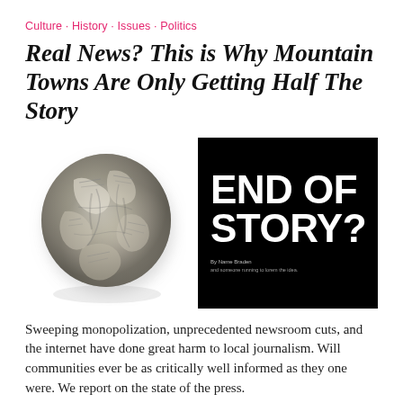Culture · History · Issues · Politics
Real News? This is Why Mountain Towns Are Only Getting Half The Story
[Figure (photo): Left: a crumpled ball of newspaper pages on a white background. Right: a black square image with large white bold text reading 'END OF STORY?' and small text below reading 'By Name Braden' and an additional subtitle line.]
Sweeping monopolization, unprecedented newsroom cuts, and the internet have done great harm to local journalism. Will communities ever be as critically well informed as they one were. We report on the state of the press.